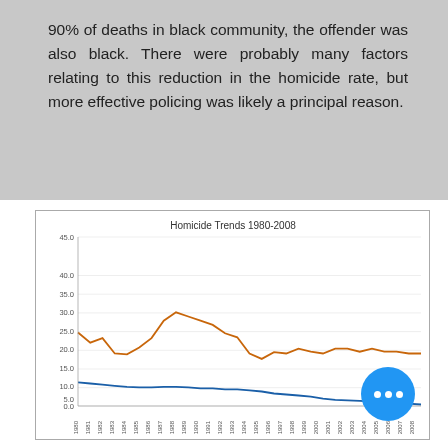90% of deaths in black community, the offender was also black. There were probably many factors relating to this reduction in the homicide rate, but more effective policing was likely a principal reason.
[Figure (line-chart): Homicide Trends 1980-2008]